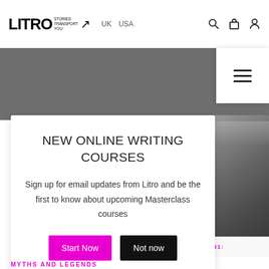LITRO STORIES TRANSPORT YOU | UK | USA
[Figure (screenshot): Grey navigation banner with hamburger menu icon on the right side]
NEW ONLINE WRITING COURSES
Sign up for email updates from Litro and be the first to know about upcoming Masterclass courses
[Figure (photo): Dark textured photo of what appears to be fabric or carpet material, partially cropped on the right side of the page]
Start Now | Not now
RO #141:
MYTHS AND LEGENDS